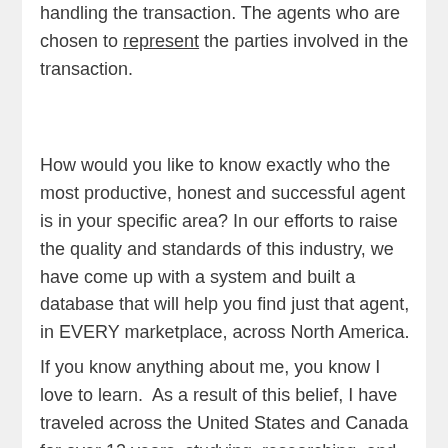handling the transaction. The agents who are chosen to represent the parties involved in the transaction.
How would you like to know exactly who the most productive, honest and successful agent is in your specific area? In our efforts to raise the quality and standards of this industry, we have come up with a system and built a database that will help you find just that agent, in EVERY marketplace, across North America.
If you know anything about me, you know I love to learn. As a result of this belief, I have traveled across the United States and Canada for over 12 years, studying, researching, and networking with the best of the best in my industry. Agents, brokers, trainers,